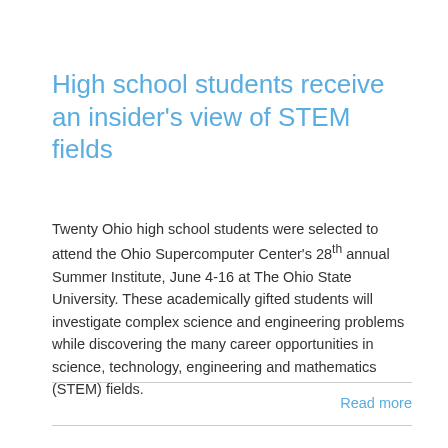High school students receive an insider's view of STEM fields
Twenty Ohio high school students were selected to attend the Ohio Supercomputer Center's 28th annual Summer Institute, June 4-16 at The Ohio State University. These academically gifted students will investigate complex science and engineering problems while discovering the many career opportunities in science, technology, engineering and mathematics (STEM) fields.
Read more